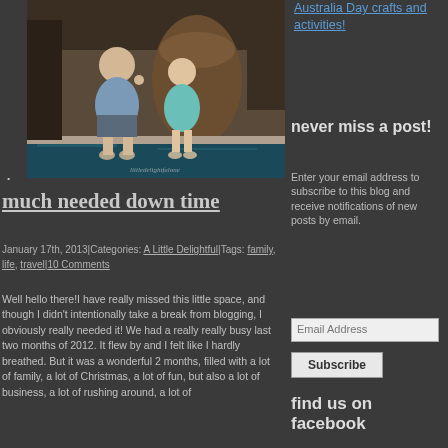[Figure (photo): Two children (a boy and a girl) sitting at the edge of a pool, smiling, with a large decorative pot in the background. Watermark text: littledelightfulone]
much needed down time
January 17th, 2013|Categories: A Little Delightful|Tags: family, life, travel|10 Comments
Well hello there!I have really missed this little space, and though I didn't intentionally take a break from blogging, I obviously really needed it! We had a really really busy last two months of 2012. It flew by and I felt like I hardly breathed. But it was a wonderful 2 months, filled with a lot of family, a lot of Christmas, a lot of fun, but also a lot of business, a lot of rushing around, a lot of
Australia Day crafts and activities!
never miss a post!
Enter your email address to subscribe to this blog and receive notifications of new posts by email.
Email Address
Subscribe
find us on facebook